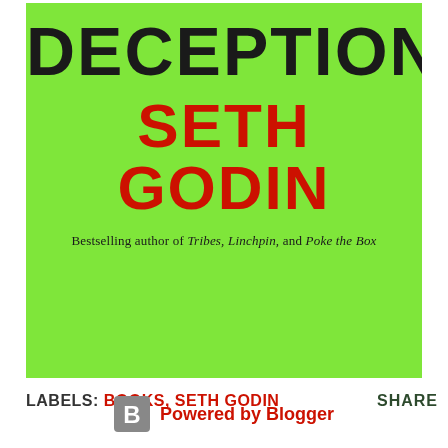[Figure (illustration): Book cover with bright green background. Title 'DECEPTION' in large black bold text at the top, author name 'SETH GODIN' in large red bold text below, and subtitle 'Bestselling author of Tribes, Linchpin, and Poke the Box' in smaller black serif text.]
LABELS: BOOKS, SETH GODIN
SHARE
Powered by Blogger